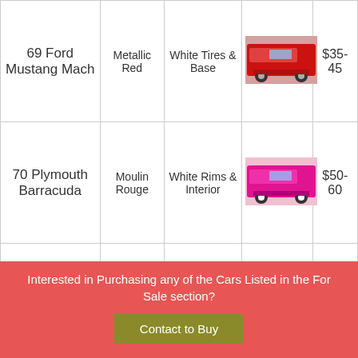| Model | Color | Features | Image | Price |
| --- | --- | --- | --- | --- |
| 69 Ford Mustang Mach | Metallic Red | White Tires & Base | [image] | $35-45 |
| 70 Plymouth Barracuda | Moulin Rouge | White Rims & Interior | [image] | $50-60 |
| 69 Chevy Camaro Z28 | Hugger Orange | White Tires & Base | [image] | $20-25 |
| 68 Pontiac |  |  | [image] |  |
Interested in Purchasing any of the Cars Listed in the For Sale section?
Contact to Buy